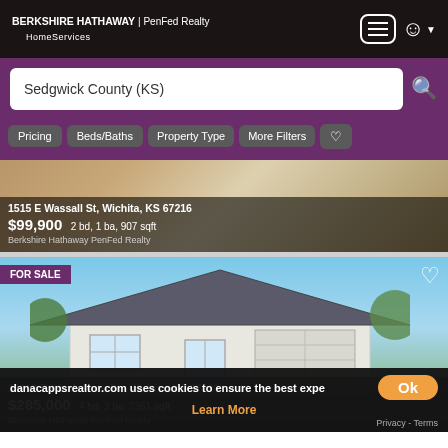BERKSHIRE HATHAWAY | PenFed Realty HomeServices
Sedgwick County (KS)
Pricing
Beds/Baths
Property Type
More Filters
[Figure (photo): Exterior photo of a brick house at 1515 E Wassall St, Wichita, KS 67216]
1515 E Wassall St, Wichita, KS 67216
$99,900 2 bd, 1 ba, 907 sqft
Berkshire Hathaway PenFed Realty
[Figure (photo): Exterior photo of a white Tudor-style house listed for sale at 10118 E Windemere Cir, Wichita, KS 67226]
10118 E Windemere Cir, Wichita, KS 67226
$285,000 4 bd, 3 ba, 2351 sqft
Berkshire Hathaway PenFed Realty
danacappsrealtor.com uses cookies to ensure the best expe
Learn More
Privacy - Terms